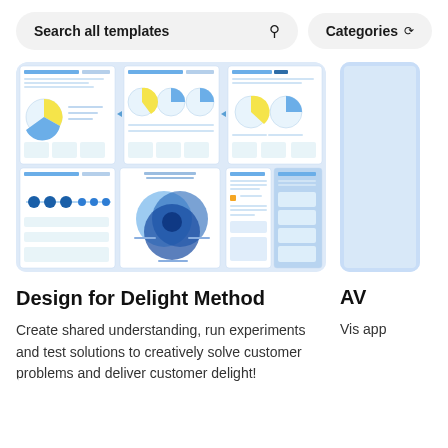Search all templates
Categories
[Figure (screenshot): Design for Delight Method template preview showing multiple worksheet panels with pie charts, Venn diagram, and design thinking canvases in blue tones]
Design for Delight Method
Create shared understanding, run experiments and test solutions to creatively solve customer problems and deliver customer delight!
AV
Vis app